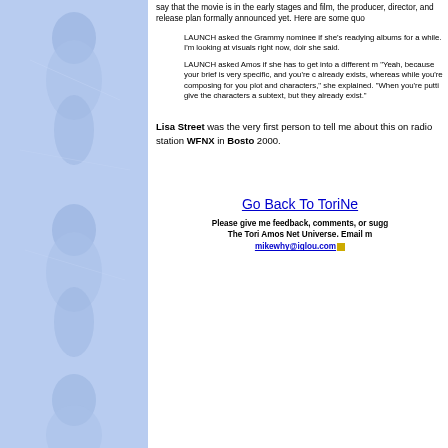[Figure (photo): Blue-tinted photo collage of a woman (Tori Amos) on the left panel, repeated vertically]
say that the movie is in the early stages and film, the producer, director, and release plans formally announced yet. Here are some quo
LAUNCH asked the Grammy nominee if she's readying albums for a while. I'm looking at visuals right now, doi she said.
LAUNCH asked Amos if she has to get into a different m "Yeah, because your brief is very specific, and you're c already exists, whereas while you're composing for you plot and characters," she explained. "When you're putti give the characters a subtext, but they already exist."
Lisa Street was the very first person to tell me about this on radio station WFNX in Boston 2000.
Go Back To ToriNe
Please give me feedback, comments, or sugg The Tori Amos Net Universe. Email m mikewhy@iglou.com